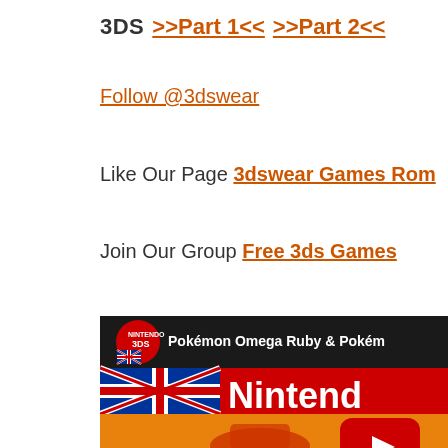3DS  >>Part 1<<  >>Part 2<<
Follow @3dswear
Like Our Page 3dswear Games Rom
Join Our Group Free 3ds Games
[Figure (screenshot): YouTube video thumbnail showing 'Pokémon Omega Ruby & Pokémon' text with a Nintendo logo on red background, UK flag emblem, and a Pokémon character (Groudon) with a YouTube play button overlay]